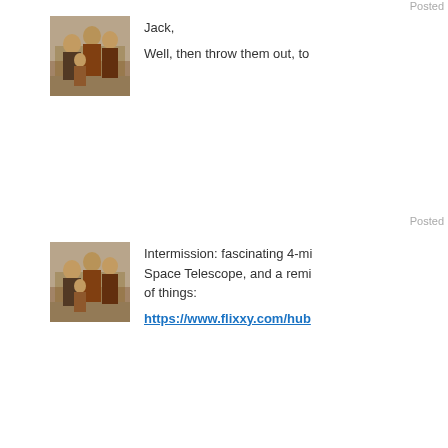Posted
[Figure (photo): Vintage sepia photo of a family group, women and children]
Jack,

Well, then throw them out, to
Posted
[Figure (photo): Vintage sepia photo of a family group, women and children]
Intermission: fascinating 4-mi Space Telescope, and a remi of things:

https://www.flixxy.com/hub
Posted
[Figure (photo): Vintage sepia photo of a family group, women and children]
Julie Kelly
@julie_kelly2
.
1m
Sounds like Trump plans to c giving aid to Ukraine. "We pu put up the money too." LOL
Posted